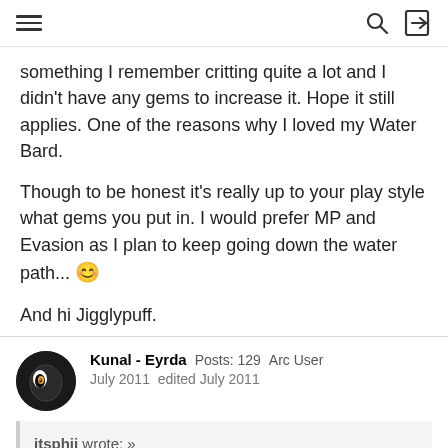navigation header with menu, search, and login icons
something I remember critting quite a lot and I didn't have any gems to increase it. Hope it still applies. One of the reasons why I loved my Water Bard.
Though to be honest it's really up to your play style what gems you put in. I would prefer MP and Evasion as I plan to keep going down the water path... 😊
And hi Jigglypuff.
Kunal - Eyrda   Posts: 129   Arc User
July 2011   edited July 2011
itsphii wrote: »
Ah Thank you 🙂. As a light bard, there are no heal effect gems correct? So would it be pointless to get heal effect items and evasion gems, since i